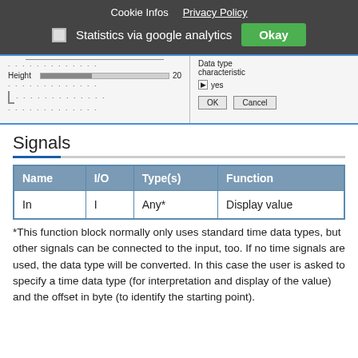Cookie Infos   Privacy Policy
☐ Statistics via google analytics   Okay
[Figure (screenshot): Dialog screenshot showing Height slider set to 20, with Data type characteristic set to yes, and OK/Cancel buttons]
Signals
| Name | I/O | Type(s) | Function |
| --- | --- | --- | --- |
| In | I | Any* | Display value |
*This function block normally only uses standard time data types, but other signals can be connected to the input, too. If no time signals are used, the data type will be converted. In this case the user is asked to specify a time data type (for interpretation and display of the value) and the offset in byte (to identify the starting point).